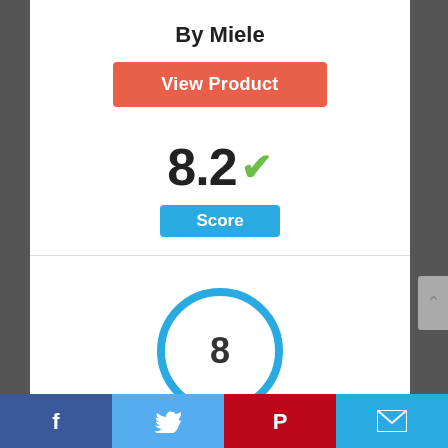By Miele
View Product
8.2
Score
[Figure (infographic): Circle badge with number 8 inside, bordered in blue]
[Figure (photo): Partial product image at bottom of page]
Facebook | Twitter | Pinterest | Email